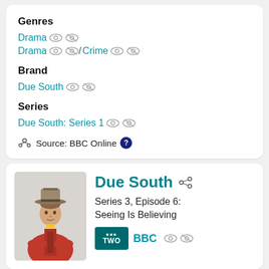Genres
Drama
Drama / Crime
Brand
Due South
Series
Due South: Series 1
Source: BBC Online
Due South
Series 3, Episode 6: Seeing Is Believing
BBC Two